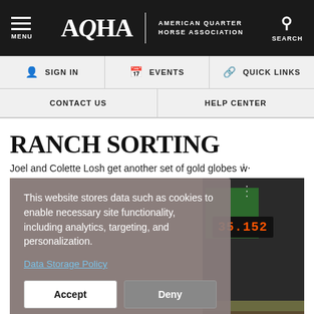AQHA | AMERICAN QUARTER HORSE ASSOCIATION
MENU | SIGN IN | EVENTS | QUICK LINKS | SEARCH
CONTACT US | HELP CENTER
RANCH SORTING
Joel and Colette Losh get another set of gold globes w...
[Figure (screenshot): Ranch sorting arena with scoreboard showing 35.152]
This website stores data such as cookies to enable necessary site functionality, including analytics, targeting, and personalization.

Data Storage Policy

Accept | Deny